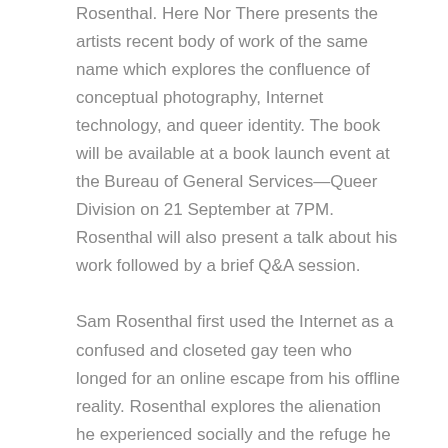Rosenthal. Here Nor There presents the artists recent body of work of the same name which explores the confluence of conceptual photography, Internet technology, and queer identity. The book will be available at a book launch event at the Bureau of General Services—Queer Division on 21 September at 7PM. Rosenthal will also present a talk about his work followed by a brief Q&A session.
Sam Rosenthal first used the Internet as a confused and closeted gay teen who longed for an online escape from his offline reality. Rosenthal explores the alienation he experienced socially and the refuge he found on the Internet by appropriating images from real-time network cameras, known as